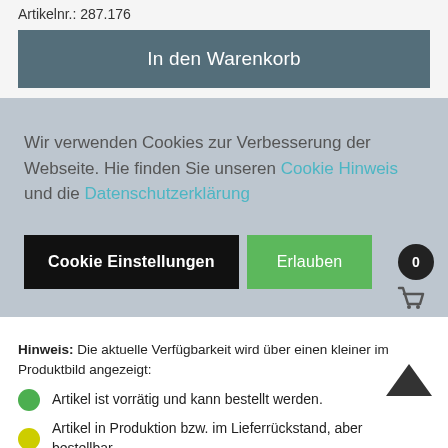Artikelnr.: 287.176
In den Warenkorb
Wir verwenden Cookies zur Verbesserung der Webseite. Hie finden Sie unseren Cookie Hinweis und die Datenschutzerklärung
Cookie Einstellungen
Erlauben
Hinweis: Die aktuelle Verfügbarkeit wird über einen kleiner im Produktbild angezeigt:
Artikel ist vorrätig und kann bestellt werden.
Artikel in Produktion bzw. im Lieferrückstand, aber bestellbar.